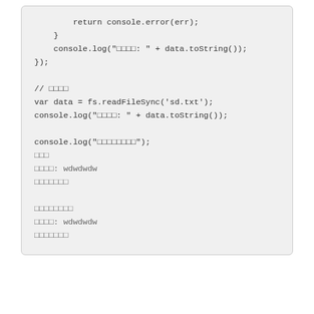return console.error(err);
    }
    console.log("□□□□: " + data.toString());
});

// □□□□
var data = fs.readFileSync('sd.txt');
console.log("□□□□: " + data.toString());

console.log("□□□□□□□□");
□□□
□□□□: wdwdwdw
□□□□□□□

□□□□□□□□
□□□□: wdwdwdw
□□□□□□□